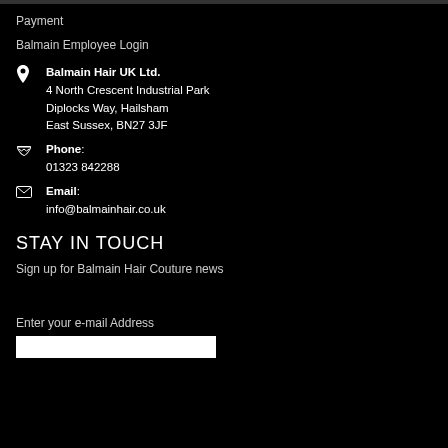Payment
Balmain Employee Login
Balmain Hair UK Ltd.
4 North Crescent Industrial Park
Diplocks Way, Hailsham
East Sussex, BN27 3JF
Phone: 01323 842288
Email: info@balmainhair.co.uk
STAY IN TOUCH
Sign up for Balmain Hair Couture news
Enter your e-mail Address